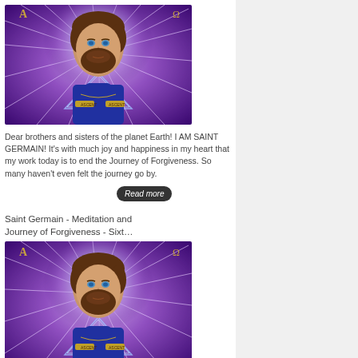[Figure (illustration): Digital illustration of Saint Germain - a bearded man with blue eyes wearing a blue turtleneck, surrounded by purple cosmic energy rays and a triangular symbol with Alpha and Omega symbols]
Dear brothers and sisters of the planet Earth! I AM SAINT GERMAIN! It's with much joy and happiness in my heart that my work today is to end the Journey of Forgiveness. So many haven't even felt the journey go by.
Read more
Saint Germain - Meditation and Journey of Forgiveness - Sixt…
[Figure (illustration): Second digital illustration of Saint Germain - same image of bearded man with blue eyes wearing a blue turtleneck, surrounded by purple cosmic energy rays and a triangular symbol with Alpha and Omega symbols]